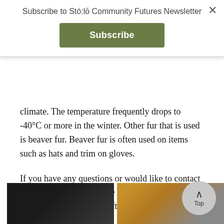Subscribe to Stó:lō Community Futures Newsletter
climate. The temperature frequently drops to -40°C or more in the winter. Other fur that is used is beaver fur. Beaver fur is often used on items such as hats and trim on gloves.
If you have any questions or would like to contact me about my work, please send an email to webmaster@mynativecrafts.com
CONNECT
[Figure (photo): Two photos at bottom: left shows dark/black fur item, right shows yellow/gold colored craft items]
[Figure (other): Back to Top circular button with upward arrow]